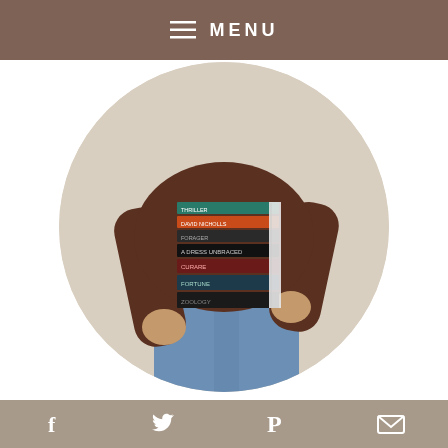☰ MENU
[Figure (photo): Circular cropped photo of a person in a brown sweater and blue jeans holding a tall stack of books with colorful spines, on a beige background.]
Welcome to The Espresso Edition, a cozy lifestyle blog. Looking for book reviews, hygge home decor, or comfortable and
f  [twitter bird]  P  [envelope]